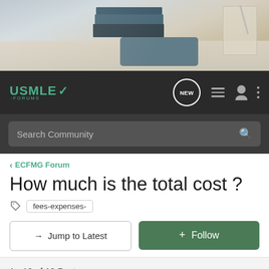[Figure (photo): Header photo showing books, clipboard, pen, and tablet on a desk, suggesting medical/study context]
USMLE FORUMS navigation bar with logo, NEW button, list icon, user icon, and menu icon
Search Community
< ECFMG Forum
How much is the total cost ?
fees-expenses-
→ Jump to Latest
+ Follow
1 - 19 of 19 Posts
silakan_isi · Registered